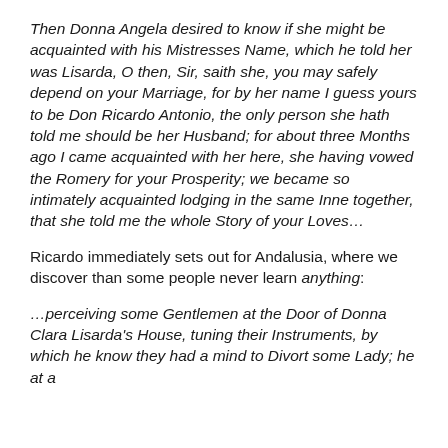Then Donna Angela desired to know if she might be acquainted with his Mistresses Name, which he told her was Lisarda, O then, Sir, saith she, you may safely depend on your Marriage, for by her name I guess yours to be Don Ricardo Antonio, the only person she hath told me should be her Husband; for about three Months ago I came acquainted with her here, she having vowed the Romery for your Prosperity; we became so intimately acquainted lodging in the same Inne together, that she told me the whole Story of your Loves…
Ricardo immediately sets out for Andalusia, where we discover than some people never learn anything:
…perceiving some Gentlemen at the Door of Donna Clara Lisarda's House, tuning their Instruments, by which he know they had a mind to Divort some Lady; he at a